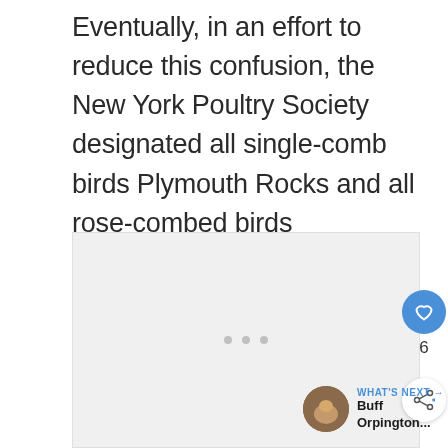Eventually, in an effort to reduce this confusion, the New York Poultry Society designated all single-comb birds Plymouth Rocks and all rose-combed birds Dominiques.
[Figure (photo): A light gray placeholder image area with three small gray dots arranged horizontally in the center, with UI overlay elements: a blue heart/like button, a share button, a count of 6, and a 'What's Next' navigation card showing 'Buff Orpington...' with a thumbnail photo.]